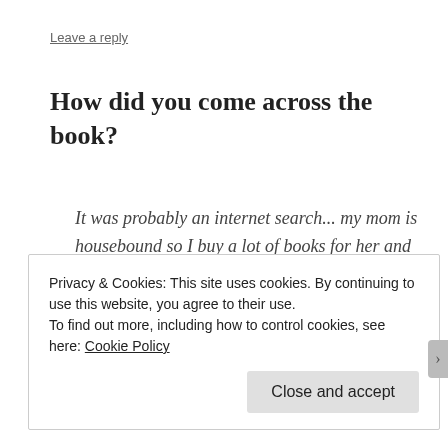Leave a reply
How did you come across the book?
It was probably an internet search... my mom is housebound so I buy a lot of books for her and she's interested in history, so... and I'm interested in history, so... I think I just came across it and it looked interesting... and it is, very!
Privacy & Cookies: This site uses cookies. By continuing to use this website, you agree to their use.
To find out more, including how to control cookies, see here: Cookie Policy